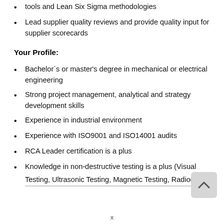tools and Lean Six Sigma methodologies
Lead supplier quality reviews and provide quality input for supplier scorecards
Your Profile:
Bachelor´s or master's degree in mechanical or electrical engineering
Strong project management, analytical and strategy development skills
Experience in industrial environment
Experience with ISO9001 and ISO14001 audits
RCA Leader certification is a plus
Knowledge in non-destructive testing is a plus (Visual Testing, Ultrasonic Testing, Magnetic Testing, Radiographic…